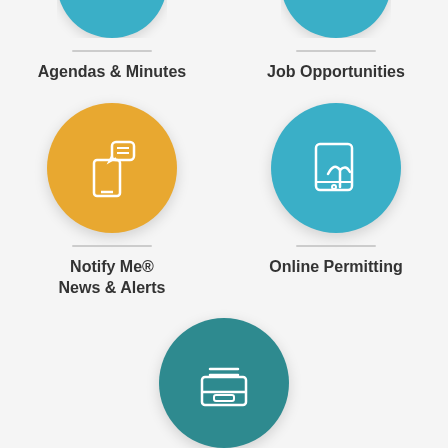[Figure (screenshot): Government services mobile app screenshot showing 5 service icons: Agendas & Minutes (teal, partially cropped at top), Job Opportunities (teal, partially cropped at top), Notify Me News & Alerts (yellow/orange circle with phone+chat icon), Online Permitting (teal circle with tablet+hand icon), Public Information (teal circle with inbox/tray icon, partially cropped at bottom)]
Agendas & Minutes
Job Opportunities
Notify Me® News & Alerts
Online Permitting
Public Information